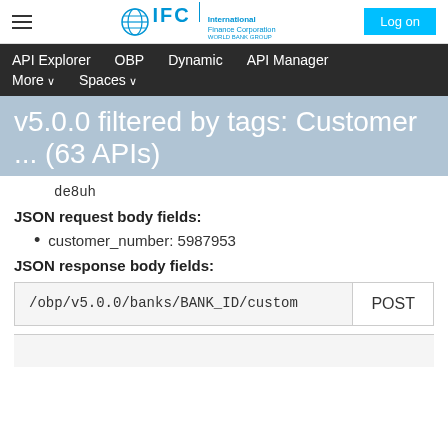IFC International Finance Corporation — Log on
API Explorer   OBP   Dynamic   API Manager   More ∨   Spaces ∨
v5.0.0 filtered by tags: Customer ... (63 APIs)
de8uh
JSON request body fields:
customer_number: 5987953
JSON response body fields:
/obp/v5.0.0/banks/BANK_ID/custom   POST